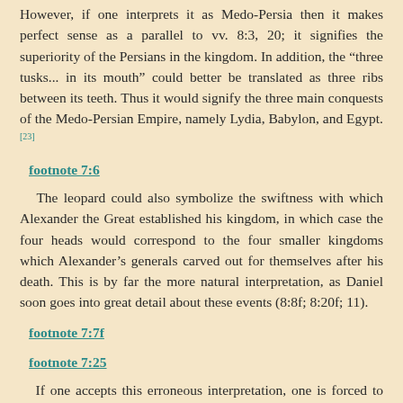However, if one interprets it as Medo-Persia then it makes perfect sense as a parallel to vv. 8:3, 20; it signifies the superiority of the Persians in the kingdom. In addition, the “three tusks... in its mouth” could better be translated as three ribs between its teeth. Thus it would signify the three main conquests of the Medo-Persian Empire, namely Lydia, Babylon, and Egypt. [23]
footnote 7:6
The leopard could also symbolize the swiftness with which Alexander the Great established his kingdom, in which case the four heads would correspond to the four smaller kingdoms which Alexander’s generals carved out for themselves after his death. This is by far the more natural interpretation, as Daniel soon goes into great detail about these events (8:8f; 8:20f; 11).
footnote 7:7f
footnote 7:25
If one accepts this erroneous interpretation, one is forced to conclude that Daniel believed that God would establish His Messianic kingdom immediately after the overthrow of Antiochus Epiphanes (cf. Daniel 7:25-27). Obviously, this did not happen.
Also, Rome and only Rome could properly be